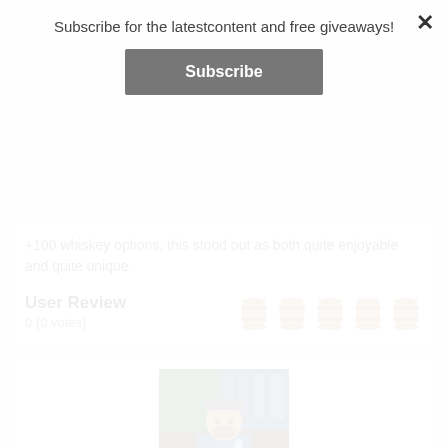Subscribe for the latestcontent and free giveaways!
Subscribe
+100 whiskey options, this stood out as both quite enjoyable and quite unique.
User Review
0 (0 votes)
[Figure (illustration): Five barrel/cask icons in tan/beige color representing rating symbols]
[Figure (photo): Photo of Greg Sinadinos, a man in a blue shirt and cap sitting at a bar or restaurant holding a glass]
Greg Sinadinos  ( CEO / Head Author )